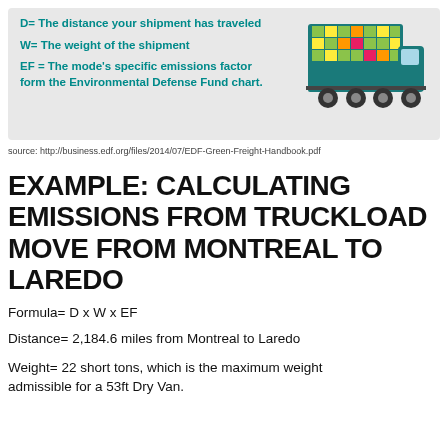D= The distance your shipment has traveled
W= The weight of the shipment
EF = The mode's specific emissions factor form the Environmental Defense Fund chart.
[Figure (illustration): Colorful truck illustration with multicolored cargo blocks on trailer]
source: http://business.edf.org/files/2014/07/EDF-Green-Freight-Handbook.pdf
EXAMPLE: CALCULATING EMISSIONS FROM TRUCKLOAD MOVE FROM MONTREAL TO LAREDO
Formula= D x W x EF
Distance= 2,184.6 miles from Montreal to Laredo
Weight= 22 short tons, which is the maximum weight admissible for a 53ft Dry Van.